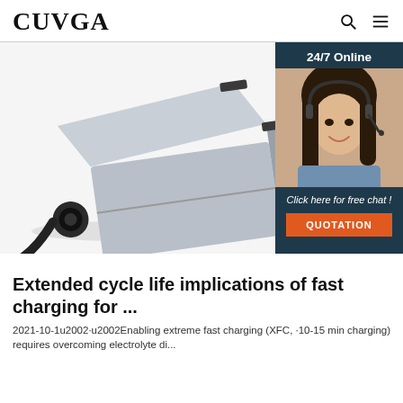CUVGA
[Figure (photo): Silver rectangular battery charger device with black connectors on a white background, overlaid with a 24/7 online customer service panel showing a smiling female agent wearing a headset, a 'Click here for free chat!' message, and an orange QUOTATION button on a dark teal background.]
Extended cycle life implications of fast charging for ...
2021-10-1u2002·u2002Enabling extreme fast charging (XFC, ·10-15 min charging) requires overcoming electrolyte di...